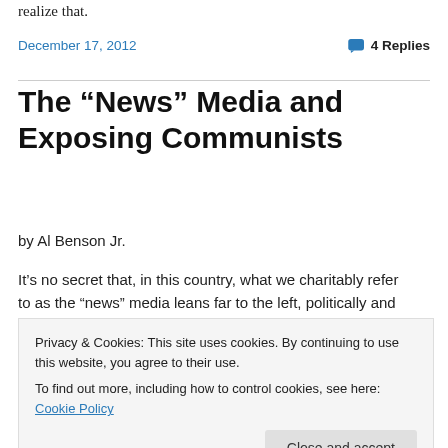realize that.
December 17, 2012   4 Replies
The “News” Media and Exposing Communists
by Al Benson Jr.
It’s no secret that, in this country, what we charitably refer to as the “news” media leans far to the left, politically and
Privacy & Cookies: This site uses cookies. By continuing to use this website, you agree to their use. To find out more, including how to control cookies, see here: Cookie Policy
the leftist perspective.